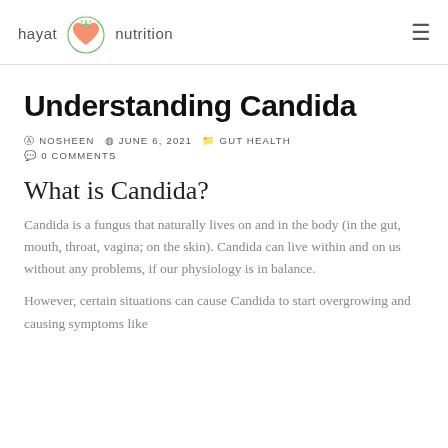hayat nutrition
Understanding Candida
NOSHEEN  JUNE 6, 2021  GUT HEALTH  0 COMMENTS
What is Candida?
Candida is a fungus that naturally lives on and in the body (in the gut, mouth, throat, vagina; on the skin). Candida can live within and on us without any problems, if our physiology is in balance.
However, certain situations can cause Candida to start overgrowing and causing symptoms like